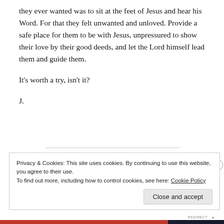they ever wanted was to sit at the feet of Jesus and hear his Word. For that they felt unwanted and unloved. Provide a safe place for them to be with Jesus, unpressured to show their love by their good deeds, and let the Lord himself lead them and guide them.
It’s worth a try, isn’t it?
J.
Privacy & Cookies: This site uses cookies. By continuing to use this website, you agree to their use.
To find out more, including how to control cookies, see here: Cookie Policy
Close and accept